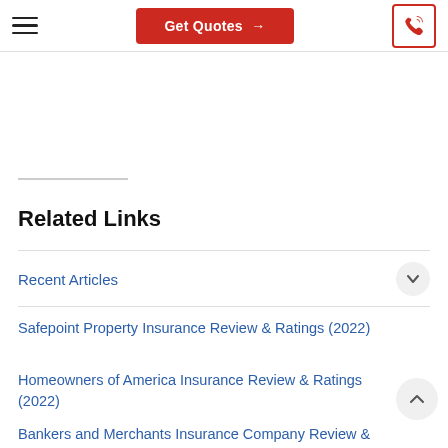Get Quotes →
Related Links
Recent Articles
Safepoint Property Insurance Review & Ratings (2022)
Homeowners of America Insurance Review & Ratings (2022)
Bankers and Merchants Insurance Company Review &